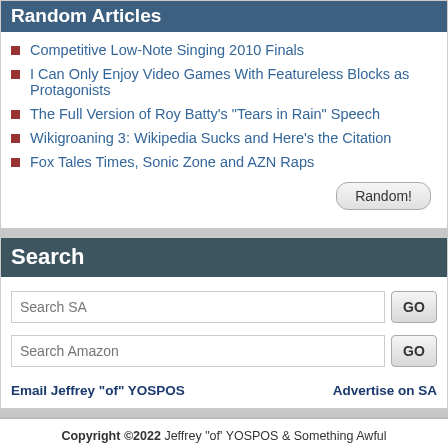Random Articles
Competitive Low-Note Singing 2010 Finals
I Can Only Enjoy Video Games With Featureless Blocks as Protagonists
The Full Version of Roy Batty's "Tears in Rain" Speech
Wikigroaning 3: Wikipedia Sucks and Here's the Citation
Fox Tales Times, Sonic Zone and AZN Raps
Search
Search SA | GO
Search Amazon | GO
Email Jeffrey "of" YOSPOS | Advertise on SA
Copyright ©2022 Jeffrey "of' YOSPOS & Something Awful
Email Jeffrey "of' YOSPOS · Advertise on this site · Privacy Statement · Submit Awful Link